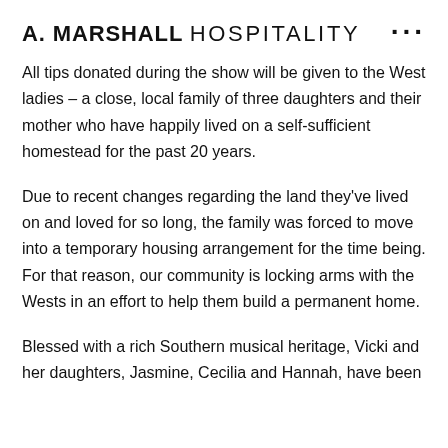A. MARSHALL HOSPITALITY
All tips donated during the show will be given to the West ladies – a close, local family of three daughters and their mother who have happily lived on a self-sufficient homestead for the past 20 years.
Due to recent changes regarding the land they've lived on and loved for so long, the family was forced to move into a temporary housing arrangement for the time being. For that reason, our community is locking arms with the Wests in an effort to help them build a permanent home.
Blessed with a rich Southern musical heritage, Vicki and her daughters, Jasmine, Cecilia and Hannah, have been